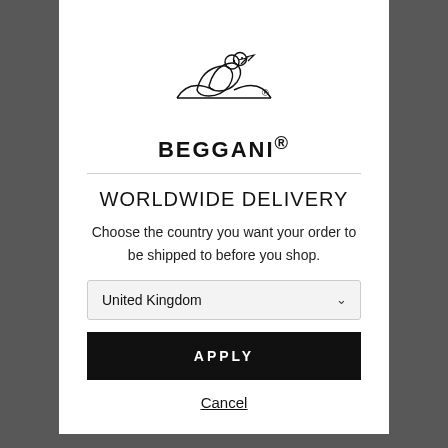[Figure (logo): BEGGANI brand logo — two doves/birds silhouette outline drawing with a registered trademark symbol]
BEGGANI®
WORLDWIDE DELIVERY
Choose the country you want your order to be shipped to before you shop.
United Kingdom (dropdown selector)
APPLY
Cancel